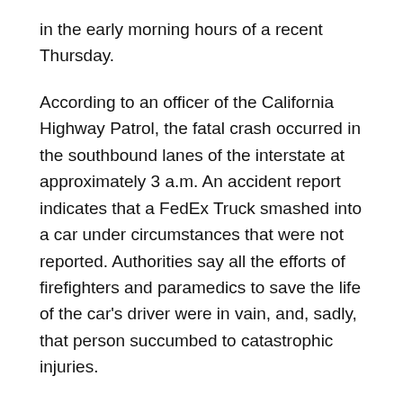in the early morning hours of a recent Thursday.
According to an officer of the California Highway Patrol, the fatal crash occurred in the southbound lanes of the interstate at approximately 3 a.m. An accident report indicates that a FedEx Truck smashed into a car under circumstances that were not reported. Authorities say all the efforts of firefighters and paramedics to save the life of the car's driver were in vain, and, sadly, that person succumbed to catastrophic injuries.
It was later revealed that the deceased person was a UPS driver who was off-duty at the time of the accident. CHP mentioned the involvement of